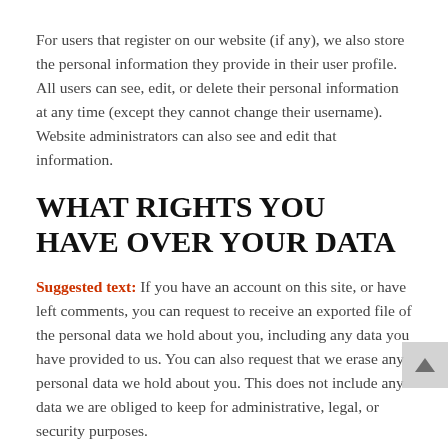For users that register on our website (if any), we also store the personal information they provide in their user profile. All users can see, edit, or delete their personal information at any time (except they cannot change their username). Website administrators can also see and edit that information.
WHAT RIGHTS YOU HAVE OVER YOUR DATA
Suggested text: If you have an account on this site, or have left comments, you can request to receive an exported file of the personal data we hold about you, including any data you have provided to us. You can also request that we erase any personal data we hold about you. This does not include any data we are obliged to keep for administrative, legal, or security purposes.